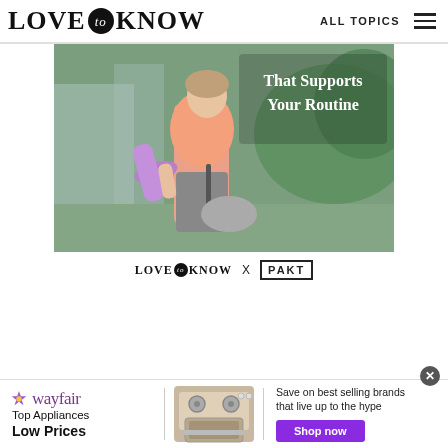LOVE to KNOW   ALL TOPICS
[Figure (photo): Woman in pink t-shirt carrying a purple yoga mat and grey bag outdoors, with text overlay 'That Supports Your Routine']
[Figure (logo): LoveToKnow X PAKT partnership logo]
[Figure (infographic): Wayfair advertisement banner: Top Appliances Low Prices, Save on best selling brands that live up to the hype, Shop now button]